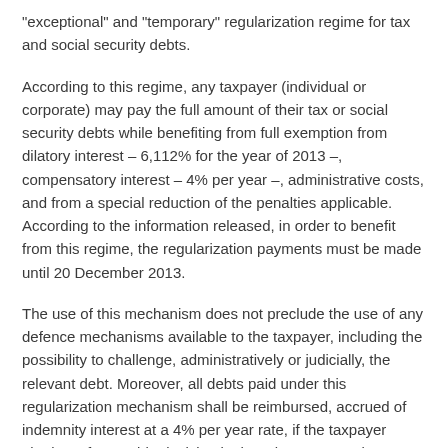"exceptional" and "temporary" regularization regime for tax and social security debts.
According to this regime, any taxpayer (individual or corporate) may pay the full amount of their tax or social security debts while benefiting from full exemption from dilatory interest – 6,112% for the year of 2013 –, compensatory interest – 4% per year –, administrative costs, and from a special reduction of the penalties applicable. According to the information released, in order to benefit from this regime, the regularization payments must be made until 20 December 2013.
The use of this mechanism does not preclude the use of any defence mechanisms available to the taxpayer, including the possibility to challenge, administratively or judicially, the relevant debt. Moreover, all debts paid under this regularization mechanism shall be reimbursed, accrued of indemnity interest at a 4% per year rate, if the taxpayer obtains a favourable decision in the relevant procedures.
In practice, the payment of the debts covered by this regime will allow the taxpayer to challenge the enforceability and legality of the debts in question without dilatory interest, adding the possibility of